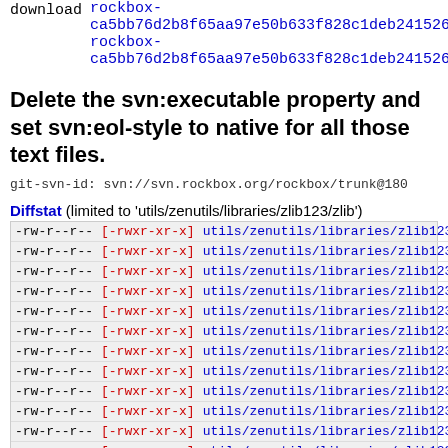download  rockbox-ca5bb76d2b8f65aa97e50b633f828c1deb241526.tar.gz
rockbox-ca5bb76d2b8f65aa97e50b633f828c1deb241526.zip
Delete the svn:executable property and set svn:eol-style to native for all those text files.
git-svn-id: svn://svn.rockbox.org/rockbox/trunk@180
Diffstat (limited to 'utils/zenutils/libraries/zlib123/zlib')
| old perm | new perm | file |
| --- | --- | --- |
| -rw-r--r-- | [-rwxr-xr-x] | utils/zenutils/libraries/zlib123/zlib/ChangeLog |
| -rw-r--r-- | [-rwxr-xr-x] | utils/zenutils/libraries/zlib123/zlib/FAQ |
| -rw-r--r-- | [-rwxr-xr-x] | utils/zenutils/libraries/zlib123/zlib/INDEX |
| -rw-r--r-- | [-rwxr-xr-x] | utils/zenutils/libraries/zlib123/zlib/Makefile |
| -rw-r--r-- | [-rwxr-xr-x] | utils/zenutils/libraries/zlib123/zlib/Makefile.in |
| -rw-r--r-- | [-rwxr-xr-x] | utils/zenutils/libraries/zlib123/zlib/README |
| -rw-r--r-- | [-rwxr-xr-x] | utils/zenutils/libraries/zlib123/zlib/adler32.c |
| -rw-r--r-- | [-rwxr-xr-x] | utils/zenutils/libraries/zlib123/zlib/algorithm.txt |
| -rw-r--r-- | [-rwxr-xr-x] | utils/zenutils/libraries/zlib123/zlib/compress.c |
| -rw-r--r-- | [-rwxr-xr-x] | utils/zenutils/libraries/zlib123/zlib/configure |
| -rw-r--r-- | [-rwxr-xr-x] | utils/zenutils/libraries/zlib123/zlib/crc32.c |
| -rw-r--r-- | [-rwxr-xr-x] | utils/zenutils/libraries/zlib123/zlib/crc32.h |
| -rw-r--r-- | [-rwxr-xr-x] | utils/zenutils/libraries/zlib123/zlib/deflate.c |
| -rw-r--r-- | [-rwxr-xr-x] | utils/zenutils/libraries/zlib123/zlib/deflate.h |